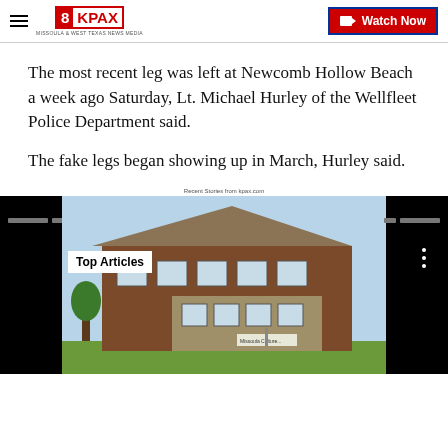8KPAX | Watch Now
The most recent leg was left at Newcomb Hollow Beach a week ago Saturday, Lt. Michael Hurley of the Wellfleet Police Department said.
The fake legs began showing up in March, Hurley said.
Recent Stories from kpax.com
[Figure (photo): Widget showing a building photo with Top Articles label and black side panels]